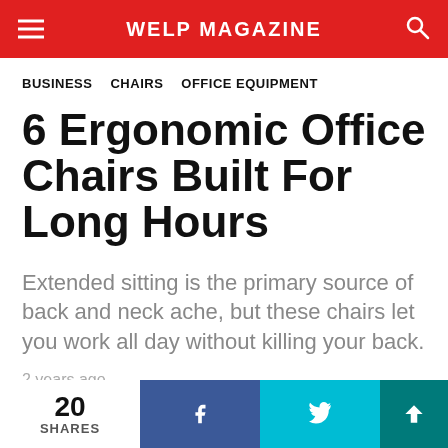WELP MAGAZINE
BUSINESS   CHAIRS   OFFICE EQUIPMENT
6 Ergonomic Office Chairs Built For Long Hours
Extended sitting is the primary source of back and neck ache, but these chairs let you work all day without killing your back.
2 years ago